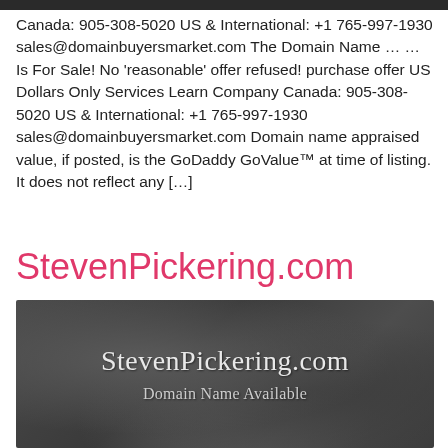Canada: 905-308-5020 US & International: +1 765-997-1930 sales@domainbuyersmarket.com The Domain Name … … Is For Sale! No 'reasonable' offer refused! purchase offer US Dollars Only Services Learn Company Canada: 905-308-5020 US & International: +1 765-997-1930 sales@domainbuyersmarket.com Domain name appraised value, if posted, is the GoDaddy GoValue™ at time of listing. It does not reflect any […]
StevenPickering.com
[Figure (illustration): Chalkboard-style dark gray textured image with white text reading 'StevenPickering.com' and below it 'Domain Name Available']